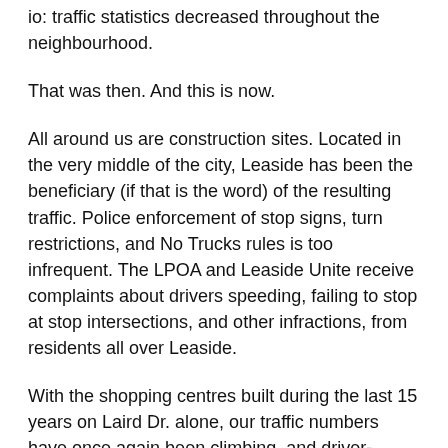io: traffic statistics decreased throughout the neighbourhood.
That was then. And this is now.
All around us are construction sites. Located in the very middle of the city, Leaside has been the beneficiary (if that is the word) of the resulting traffic. Police enforcement of stop signs, turn restrictions, and No Trucks rules is too infrequent. The LPOA and Leaside Unite receive complaints about drivers speeding, failing to stop at stop intersections, and other infractions, from residents all over Leaside.
With the shopping centres built during the last 15 years on Laird Dr. alone, our traffic numbers have once again been climbing, and driver-speed is increasing. This situation can only get worse if ignored.
For years, rather than supporting an internal Leaside study,